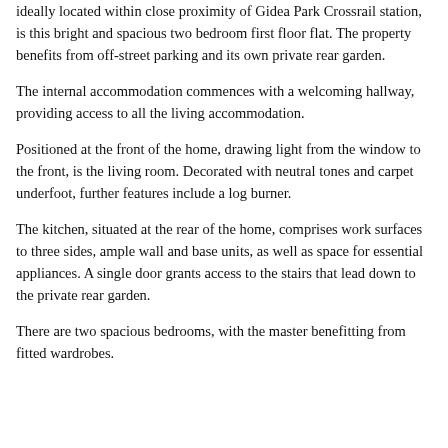ideally located within close proximity of Gidea Park Crossrail station, is this bright and spacious two bedroom first floor flat. The property benefits from off-street parking and its own private rear garden.
The internal accommodation commences with a welcoming hallway, providing access to all the living accommodation.
Positioned at the front of the home, drawing light from the window to the front, is the living room. Decorated with neutral tones and carpet underfoot, further features include a log burner.
The kitchen, situated at the rear of the home, comprises work surfaces to three sides, ample wall and base units, as well as space for essential appliances. A single door grants access to the stairs that lead down to the private rear garden.
There are two spacious bedrooms, with the master benefitting from fitted wardrobes.